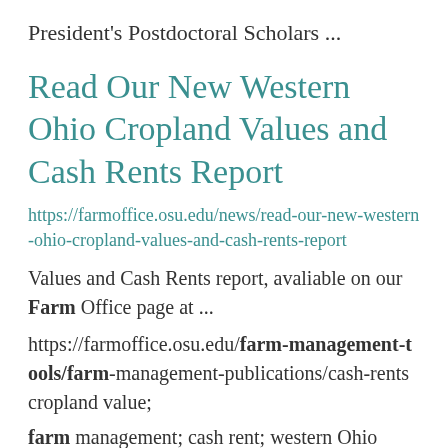President's Postdoctoral Scholars ...
Read Our New Western Ohio Cropland Values and Cash Rents Report
https://farmoffice.osu.edu/news/read-our-new-western-ohio-cropland-values-and-cash-rents-report
Values and Cash Rents report, avaliable on our Farm Office page at ... https://farmoffice.osu.edu/farm-management-tools/farm-management-publications/cash-rents cropland value; farm management; cash rent; western Ohio